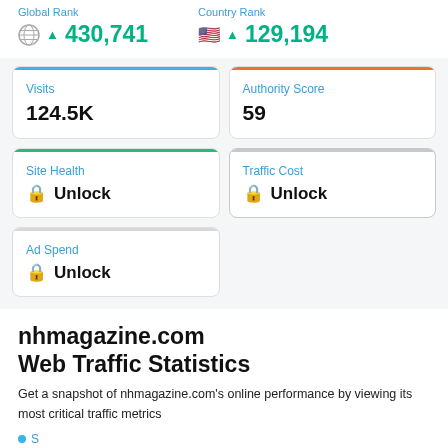Global Rank ▲ 430,741 | Country Rank ▲ 129,194
| Metric | Value |
| --- | --- |
| Visits | 124.5K |
| Authority Score | 59 |
| Site Health | Unlock |
| Traffic Cost | Unlock |
| Ad Spend | Unlock |
nhmagazine.com
Web Traffic Statistics
Get a snapshot of nhmagazine.com's online performance by viewing its most critical traffic metrics